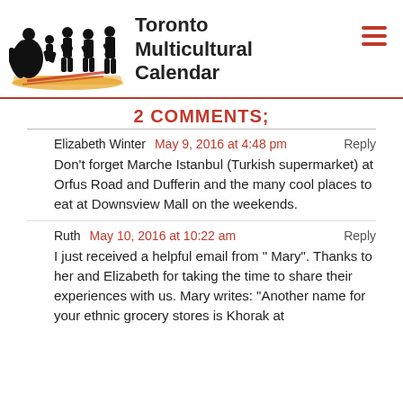[Figure (logo): Toronto Multicultural Calendar logo with silhouettes of dancers in traditional costumes and orange/yellow base, next to site title text]
2 COMMENTS;
Elizabeth Winter   May 9, 2016 at 4:48 pm   Reply
Don't forget Marche Istanbul (Turkish supermarket) at Orfus Road and Dufferin and the many cool places to eat at Downsview Mall on the weekends.
Ruth   May 10, 2016 at 10:22 am   Reply
I just received a helpful email from " Mary". Thanks to her and Elizabeth for taking the time to share their experiences with us. Mary writes: "Another name for your ethnic grocery stores is Khorak at